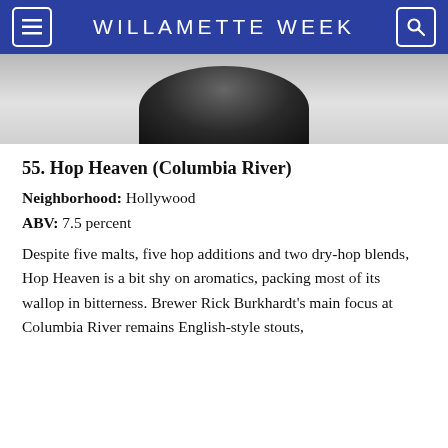WILLAMETTE WEEK
[Figure (photo): Top portion of a dark beer bottle against a light gray background]
55. Hop Heaven (Columbia River)
Neighborhood: Hollywood
ABV: 7.5 percent
Despite five malts, five hop additions and two dry-hop blends, Hop Heaven is a bit shy on aromatics, packing most of its wallop in bitterness. Brewer Rick Burkhardt's main focus at Columbia River remains English-style stouts,